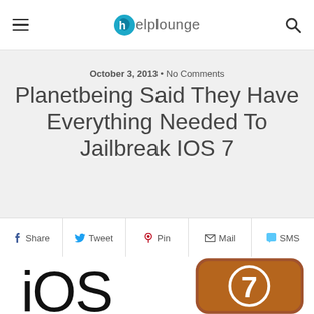helplounge
October 3, 2013 • No Comments
Planetbeing Said They Have Everything Needed To Jailbreak IOS 7
Share  Tweet  Pin  Mail  SMS
[Figure (illustration): iOS 7 jailbreak logo — the text 'iOS' in large black letters alongside a brown rounded-square icon with the number 7 and a circle design]